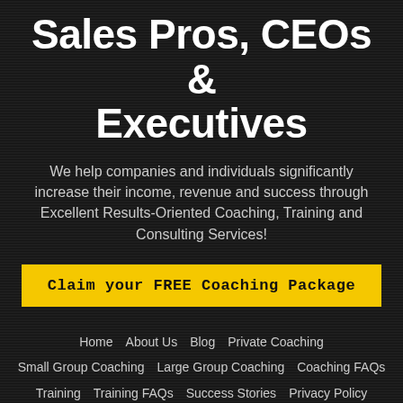Sales Pros, CEOs & Executives
We help companies and individuals significantly increase their income, revenue and success through Excellent Results-Oriented Coaching, Training and Consulting Services!
Claim your FREE Coaching Package
Home · About Us · Blog · Private Coaching
Small Group Coaching · Large Group Coaching · Coaching FAQs
Training · Training FAQs · Success Stories · Privacy Policy
Terms & Conditions · Free Stuff · Partner Program · Partner Login
Contact Us · Client Login · Trademark Usage · Partner Agreement